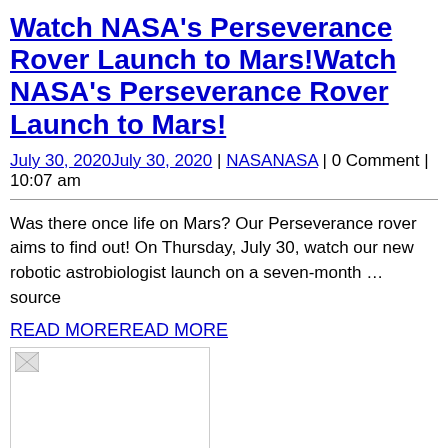Watch NASA's Perseverance Rover Launch to Mars!Watch NASA's Perseverance Rover Launch to Mars!
July 30, 2020July 30, 2020 | NASANASA | 0 Comment | 10:07 am
Was there once life on Mars? Our Perseverance rover aims to find out! On Thursday, July 30, watch our new robotic astrobiologist launch on a seven-month … source
READ MOREREAD MORE
[Figure (photo): Broken/missing image placeholder]